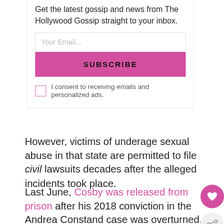Get the latest gossip and news from The Hollywood Gossip straight to your inbox.
Your Email...
SUBSCRIBE
I consent to receiving emails and personalized ads.
However, victims of underage sexual abuse in that state are permitted to file civil lawsuits decades after the alleged incidents took place.
Last June, Cosby was released from prison after his 2018 conviction in the Andrea Constand case was overturned.